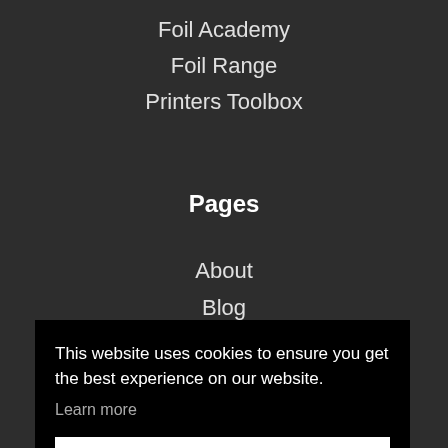Foil Academy
Foil Range
Printers Toolbox
Pages
About
Blog
This website uses cookies to ensure you get the best experience on our website.
Learn more
Got it!